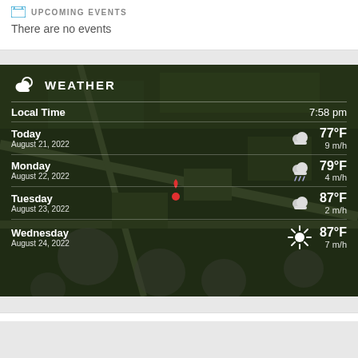UPCOMING EVENTS
There are no events
[Figure (infographic): Weather widget overlaid on aerial map showing local weather forecast. Header: WEATHER. Local Time: 7:58 pm. Today August 21 2022: cloudy icon, 77°F, 9 m/h. Monday August 22 2022: rain cloud icon, 79°F, 4 m/h. Tuesday August 23 2022: cloudy icon, 87°F, 2 m/h. Wednesday August 24 2022: sunny icon, 87°F, 7 m/h.]